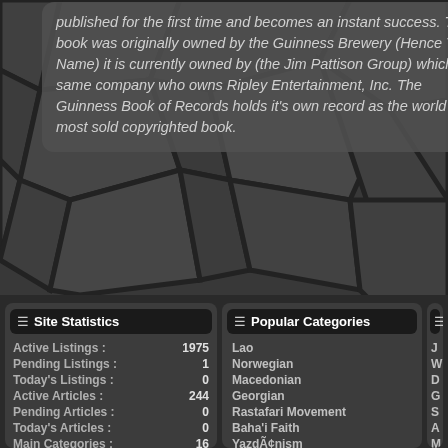published for the first time and becomes an instant success. The book was originally owned by the Guinness Brewery (Hence The Name) it is currently owned by (the Jim Pattison Group) which the same company who owns Ripley Entertainment, Inc. The Guinness Book of Records holds it's own record as the world's most sold copyrighted book.
Site Statistics
| Label | Value |
| --- | --- |
| Active Listings : | 1975 |
| Pending Listings : | 1 |
| Today's Listings : | 0 |
| Active Articles : | 244 |
| Pending Articles : | 0 |
| Today's Articles : | 0 |
| Main Categories : | 16 |
Popular Categories
Lao
Norwegian
Macedonian
Georgian
Rastafari Movement
Baha'i Faith
YazdÃ¢nism